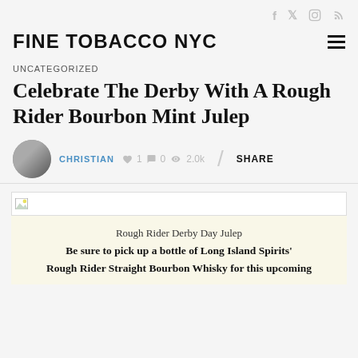f  Twitter  Instagram  RSS
FINE TOBACCO NYC
UNCATEGORIZED
Celebrate The Derby With A Rough Rider Bourbon Mint Julep
CHRISTIAN  ♥ 1  ● 0  👁 2.0k  SHARE
[Figure (photo): Broken image placeholder for article image]
Rough Rider Derby Day Julep
Be sure to pick up a bottle of Long Island Spirits'
Rough Rider Straight Bourbon Whisky for this upcoming